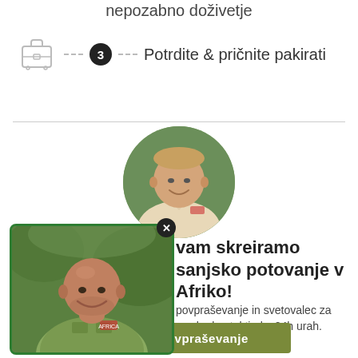nepozabno doživetje
3  Potrdite & pričnite pakirati
[Figure (photo): Circular profile photo of a middle-aged man in a safari/Africa uniform shirt, smiling, with green foliage background]
[Figure (photo): Rectangular popup overlay photo of a bald man in a green Africa safari uniform shirt, smiling, with green foliage background. Has a green border and a close (x) button.]
vam skreiramo sanjsko potovanje v Afriko!
povpraševanje in svetovalec za vas bo kontaktiral v 24h urah.